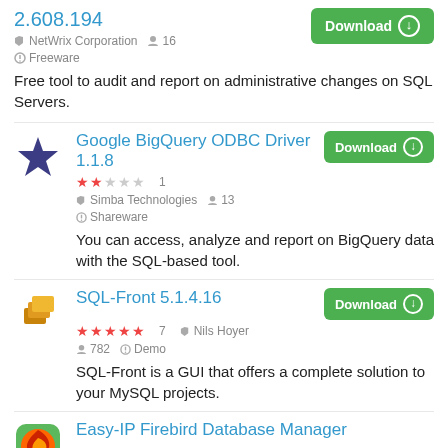2.608.194
NetWrix Corporation  16  Freeware
Free tool to audit and report on administrative changes on SQL Servers.
Google BigQuery ODBC Driver 1.1.8
★★☆☆☆ 1  Simba Technologies  13  Shareware
You can access, analyze and report on BigQuery data with the SQL-based tool.
SQL-Front 5.1.4.16
★★★★★ 7  Nils Hoyer  782  Demo
SQL-Front is a GUI that offers a complete solution to your MySQL projects.
Easy-IP Firebird Database Manager